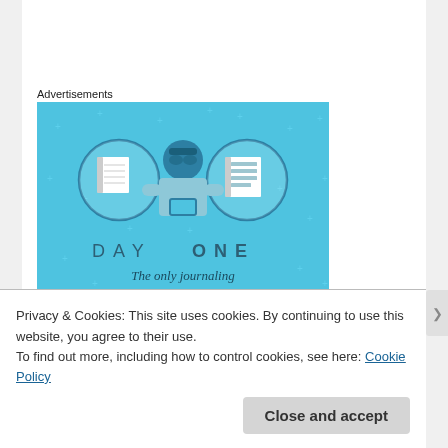Advertisements
[Figure (illustration): Day One app advertisement on a light blue background. Shows a cartoon person holding a phone, flanked by two notebook/journal icons in circular frames. Text reads 'DAY ONE' and 'The only journaling app you'll ever need'.]
Privacy & Cookies: This site uses cookies. By continuing to use this website, you agree to their use.
To find out more, including how to control cookies, see here: Cookie Policy
Close and accept